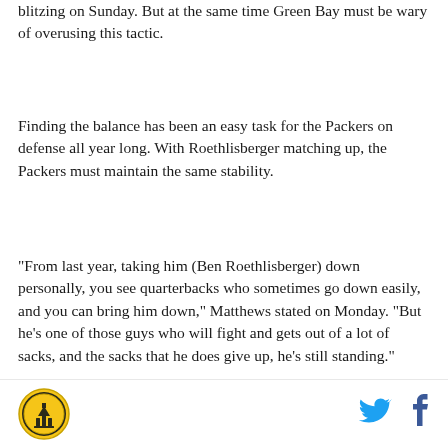blitzing on Sunday.  But at the same time Green Bay must be wary of overusing this tactic.
Finding the balance has been an easy task for the Packers on defense all year long.  With Roethlisberger matching up, the Packers must maintain the same stability.
"From last year, taking him (Ben Roethlisberger) down personally, you see quarterbacks who sometimes go down easily, and you can bring him down," Matthews stated on Monday. "But he's one of those guys who will fight and gets out of a lot of sacks, and the sacks that he does give up, he's still standing."
Pounsey remains a possibility to return on Sunday
[Figure (logo): Circular logo with building/landmark icon in gold and black]
[Figure (logo): Twitter bird icon in blue]
[Figure (logo): Facebook f icon in dark blue]